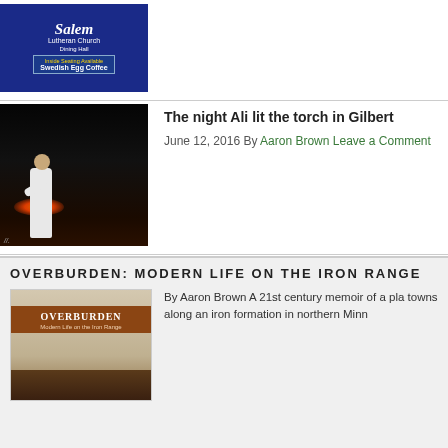[Figure (photo): Salem Lutheran Church Dining Hall sign advertising Swedish Egg Coffee with Inside Seating Available]
[Figure (photo): Muhammad Ali lighting the torch at night in Gilbert, Minnesota, person in white outfit holding flame]
The night Ali lit the torch in Gilbert
June 12, 2016 By Aaron Brown Leave a Comment
OVERBURDEN: MODERN LIFE ON THE IRON RANGE
[Figure (photo): Book cover of Overburden: Modern Life on the Iron Range by Aaron Brown]
By Aaron Brown A 21st century memoir of a pla towns along an iron formation in northern Minn